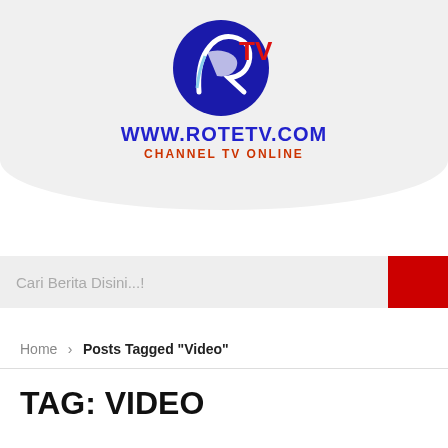[Figure (logo): RoteTV logo — blue swirl R with red TV text, site URL and tagline below]
Cari Berita Disini...!
Home > Posts Tagged "Video"
TAG: VIDEO